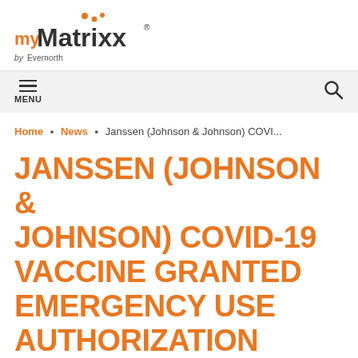[Figure (logo): myMatrixx by Evernorth logo — orange 'my' text, bold black 'Matrixx' text with trademark symbol, orange dot decorations, 'by Evernorth' subtext]
MENU  [search icon]
Home • News • Janssen (Johnson & Johnson) COVI...
JANSSEN (JOHNSON & JOHNSON) COVID-19 VACCINE GRANTED EMERGENCY USE AUTHORIZATION